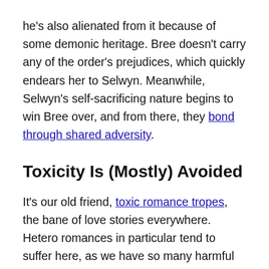he's also alienated from it because of some demonic heritage. Bree doesn't carry any of the order's prejudices, which quickly endears her to Selwyn. Meanwhile, Selwyn's self-sacrificing nature begins to win Bree over, and from there, they bond through shared adversity.
Toxicity Is (Mostly) Avoided
It's our old friend, toxic romance tropes, the bane of love stories everywhere. Hetero romances in particular tend to suffer here, as we have so many harmful ideas of masculinity floating around, plus the inherent power imbalance that sexism creates. When I first cracked open Legendborn, I braced for